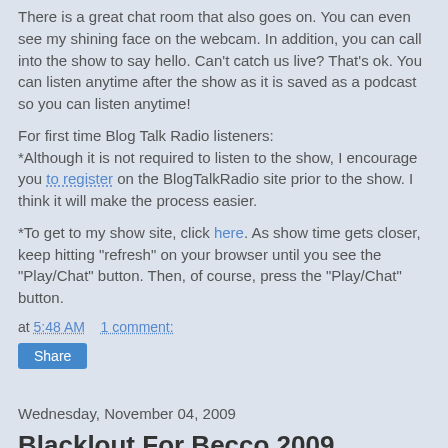There is a great chat room that also goes on. You can even see my shining face on the webcam. In addition, you can call into the show to say hello. Can't catch us live? That's ok. You can listen anytime after the show as it is saved as a podcast so you can listen anytime!
For first time Blog Talk Radio listeners:
*Although it is not required to listen to the show, I encourage you to register on the BlogTalkRadio site prior to the show. I think it will make the process easier.
*To get to my show site, click here. As show time gets closer, keep hitting "refresh" on your browser until you see the "Play/Chat" button. Then, of course, press the "Play/Chat" button.
at 5:48 AM    1 comment:
Share
Wednesday, November 04, 2009
Blacklout For Becco 2009